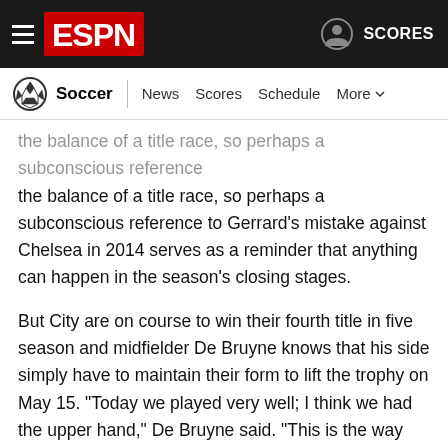ESPN - Soccer | News  Scores  Schedule  More
the balance of a title race, so perhaps a subconscious reference to Gerrard's mistake against Chelsea in 2014 serves as a reminder that anything can happen in the season's closing stages.
But City are on course to win their fourth title in five season and midfielder De Bruyne knows that his side simply have to maintain their form to lift the trophy on May 15. "Today we played very well; I think we had the upper hand," De Bruyne said. "This is the way we need to play the rest of the season. I know people said whoever wins gets the title, but it's too hard, the schedule is too tough for both teams to win every game, but we will try."